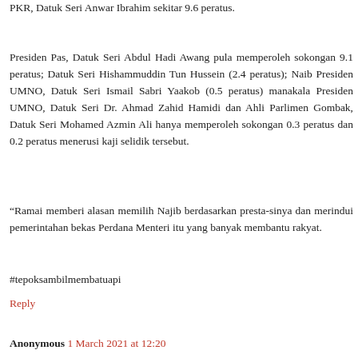PKR, Datuk Seri Anwar Ibrahim sekitar 9.6 peratus.
Presiden Pas, Datuk Seri Abdul Hadi Awang pula memperoleh sokongan 9.1 peratus; Datuk Seri Hishammuddin Tun Hussein (2.4 peratus); Naib Presiden UMNO, Datuk Seri Ismail Sabri Yaakob (0.5 peratus) manakala Presiden UMNO, Datuk Seri Dr. Ahmad Zahid Hamidi dan Ahli Parlimen Gombak, Datuk Seri Mohamed Azmin Ali hanya memperoleh sokongan 0.3 peratus dan 0.2 peratus menerusi kaji selidik tersebut.
“Ramai memberi alasan memilih Najib berdasarkan presta-sinya dan merindui pemerintahan bekas Perdana Menteri itu yang banyak membantu rakyat.
#tepoksambilmembatuapi
Reply
Anonymous 1 March 2021 at 12:20